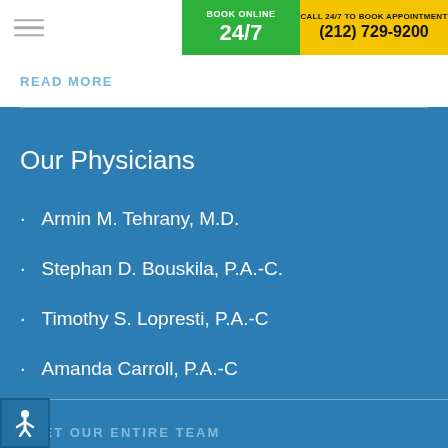BOOK ONLINE 24/7 | CALL 24/7 TO BOOK APPOINTMENT (212) 729-9200
READ MORE
Our Physicians
Armin M. Tehrany, M.D.
Stephan D. Bouskila, P.A.-C.
Timothy S. Lopresti, P.A.-C
Amanda Carroll, P.A.-C
MEET OUR ENTIRE TEAM